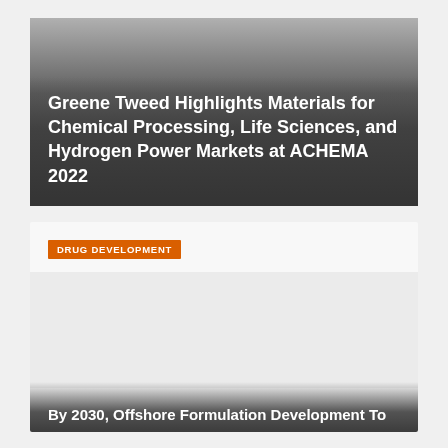Greene Tweed Highlights Materials for Chemical Processing, Life Sciences, and Hydrogen Power Markets at ACHEMA 2022
DRUG DEVELOPMENT
[Figure (photo): Image area for Drug Development article (content not visible)]
By 2030, Offshore Formulation Development To